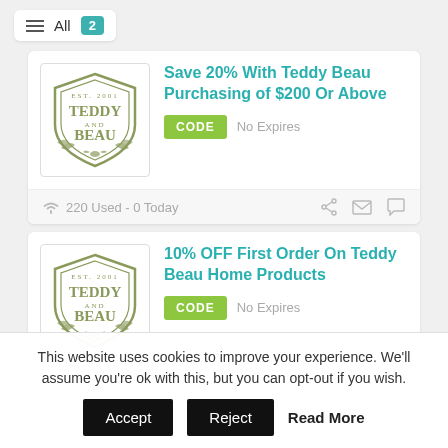All 2
Save 20% With Teddy Beau Purchasing of $200 Or Above
CODE   No Expires
220 Used - 0 Today
10% OFF First Order On Teddy Beau Home Products
CODE   No Expires
This website uses cookies to improve your experience. We'll assume you're ok with this, but you can opt-out if you wish.